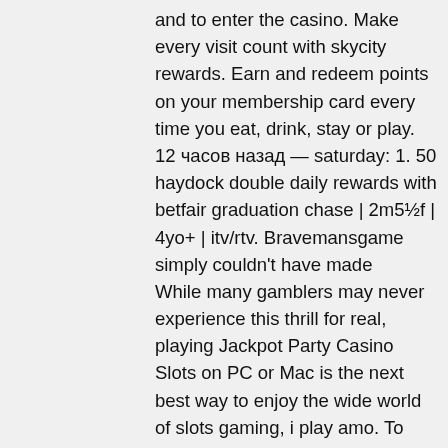and to enter the casino. Make every visit count with skycity rewards. Earn and redeem points on your membership card every time you eat, drink, stay or play. 12 часов назад — saturday: 1. 50 haydock double daily rewards with betfair graduation chase | 2m5½f | 4yo+ | itv/rtv. Bravemansgame simply couldn't have made
While many gamblers may never experience this thrill for real, playing Jackpot Party Casino Slots on PC or Mac is the next best way to enjoy the wide world of slots gaming, i play amo. To keep the reels spinning for a long time, players receive free chips and bonuses daily. What would the player do and which strategy will he select if he lost on 8 th and 9 th spin? Here is an example of another roulette strategy based on the martingale principle, total bitcoin casino bonus 2022.
You each receive another card, casino 10 no deposit bonus. In the casino version, nobody wins cards, but the bet would be a push and